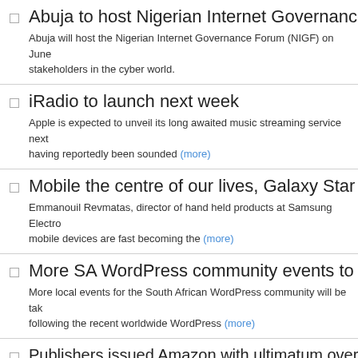Abuja to host Nigerian Internet Governance Forum
Abuja will host the Nigerian Internet Governance Forum (NIGF) on June stakeholders in the cyber world.
iRadio to launch next week
Apple is expected to unveil its long awaited music streaming service next having reportedly been sounded (more)
Mobile the centre of our lives, Galaxy Star unveiled
Emmanouil Revmatas, director of hand held products at Samsung Electro mobile devices are fast becoming the (more)
More SA WordPress community events to come
More local events for the South African WordPress community will be tak following the recent worldwide WordPress (more)
Publishers issued Amazon with ultimatum over e-boo
Publishers issued Amazon.com with an ultimatum over letting them set th became able sell through Apple in (more)
Snapp lify partners with GRi Global